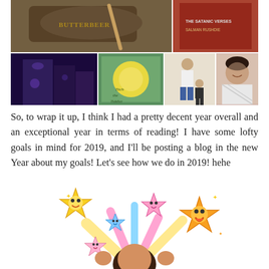[Figure (photo): Photo collage: top row has two photos (a large mug/barrel labeled with text and a book with 'Salman Rushdie' on cover), bottom row has four photos (Diagon Alley Warner Bros set, a board game 'Titch the Tiddler', two children standing, a woman selfie)]
So, to wrap it up, I think I had a pretty decent year overall and an exceptional year in terms of reading! I have some lofty goals in mind for 2019, and I'll be posting a blog in the new Year about my goals! Let's see how we do in 2019! hehe
[Figure (illustration): Cartoon bitmoji-style illustration of a dark-haired woman with raised fists, surrounded by cute smiling star characters with colorful streaks radiating outward]